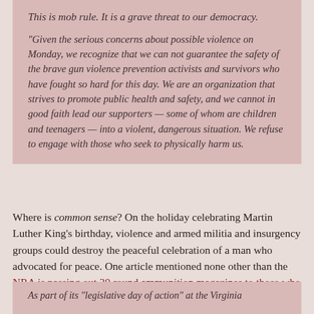This is mob rule. It is a grave threat to our democracy.
“Given the serious concerns about possible violence on Monday, we recognize that we can not guarantee the safety of the brave gun violence prevention activists and survivors who have fought so hard for this day. We are an organization that strives to promote public health and safety, and we cannot in good faith lead our supporters — some of whom are children and teenagers — into a violent, dangerous situation. We refuse to engage with those who seek to physically harm us.
Where is common sense? On the holiday celebrating Martin Luther King’s birthday, violence and armed militia and insurgency groups could destroy the peaceful celebration of a man who advocated for peace. One article mentioned none other than the NRA is passing out 30 round ammunition magazines to those who will attend:
As part of its “legislative day of action” at the Virginia